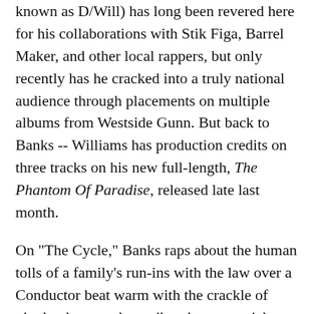known as D/Will) has long been revered here for his collaborations with Stik Figa, Barrel Maker, and other local rappers, but only recently has he cracked into a truly national audience through placements on multiple albums from Westside Gunn. But back to Banks -- Williams has production credits on three tracks on his new full-length, The Phantom Of Paradise, released late last month.
On "The Cycle," Banks raps about the human tolls of a family's run-ins with the law over a Conductor beat warm with the crackle of vinyl, what may be a vibraphone, a quick organ riff, and other eerier elements. "Triboro" is a real doozy of a collab track. Banks raps about doing some glad-handing at a local eatery and pays tribute to late drill star Pop Smoke. Fool's Gold prez A-Trak assists with some scratching, Mr. Muthafuckin' Exquire is on a tear for his guest verse, and former Ratking emcee and beloved everyman Wiki stops in near the end. Maybe it's